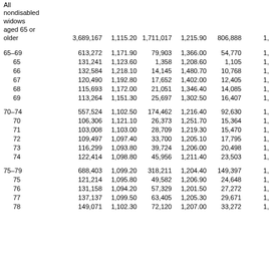| Age/category | N1 | Avg1 | N2 | Avg2 | N3 | Avg3(partial) |
| --- | --- | --- | --- | --- | --- | --- |
| All nondisabled widows aged 65 or older | 3,689,167 | 1,115.20 | 1,711,017 | 1,215.90 | 806,888 | 1,37 |
| 65–69 | 613,272 | 1,171.90 | 79,903 | 1,366.00 | 54,770 | 1,44 |
| 65 | 131,241 | 1,123.60 | 1,358 | 1,208.60 | 1,105 | 1,24 |
| 66 | 132,584 | 1,218.10 | 14,145 | 1,480.70 | 10,768 | 1,54 |
| 67 | 120,490 | 1,192.80 | 17,652 | 1,402.00 | 12,405 | 1,48 |
| 68 | 115,693 | 1,172.00 | 21,051 | 1,346.40 | 14,085 | 1,43 |
| 69 | 113,264 | 1,151.30 | 25,697 | 1,302.50 | 16,407 | 1,38 |
| 70–74 | 557,524 | 1,102.50 | 174,462 | 1,216.40 | 92,630 | 1,31 |
| 70 | 106,306 | 1,121.10 | 26,373 | 1,251.70 | 15,364 | 1,32 |
| 71 | 103,008 | 1,103.00 | 28,709 | 1,219.30 | 15,470 | 1,30 |
| 72 | 109,497 | 1,097.40 | 33,700 | 1,205.10 | 17,795 | 1,29 |
| 73 | 116,299 | 1,093.80 | 39,724 | 1,206.00 | 20,498 | 1,30 |
| 74 | 122,414 | 1,098.80 | 45,956 | 1,211.40 | 23,503 | 1,31 |
| 75–79 | 688,403 | 1,099.20 | 318,211 | 1,204.40 | 149,397 | 1,32 |
| 75 | 121,214 | 1,095.80 | 49,582 | 1,206.90 | 24,648 | 1,31 |
| 76 | 131,158 | 1,094.20 | 57,329 | 1,201.50 | 27,272 | 1,31 |
| 77 | 137,137 | 1,099.50 | 63,405 | 1,205.30 | 29,671 | 1,32 |
| 78 | 149,071 | 1,102.30 | 72,120 | 1,207.00 | 33,272 | 1,32 |